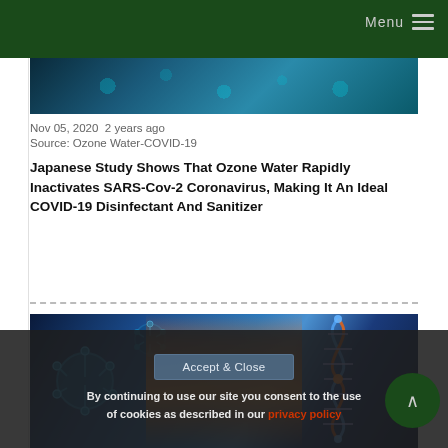Menu
[Figure (photo): Partial view of coronavirus/molecule image at the top of the article]
Nov 05, 2020  2 years ago
Source: Ozone Water-COVID-19
Japanese Study Shows That Ozone Water Rapidly Inactivates SARS-Cov-2 Coronavirus, Making It An Ideal COVID-19 Disinfectant And Sanitizer
[Figure (photo): Scientific illustration showing coronavirus particles and DNA helix structure with blue glowing background]
Accept & Close
By continuing to use our site you consent to the use of cookies as described in our privacy policy